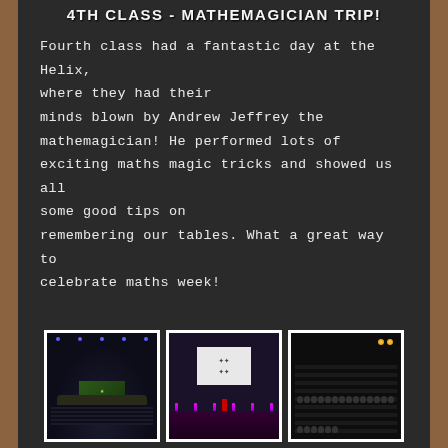4TH CLASS - MATHEMAGICIAN TRIP!
Fourth class had a fantastic day at the Helix, where they had their minds blown by Andrew Jeffrey the mathemagician! He performed lots of exciting maths magic tricks and showed us all some good tips on remembering our tables. What a great way to celebrate maths week!
[Figure (photo): Theatre interior view from above showing stage with green screen and blue lights, audience seating visible]
[Figure (photo): Stage view showing white projection screen with figure/drawing, purple/blue stage lighting, performer in red visible at bottom]
[Figure (photo): Audience view from above showing rows of seated children in a theatre with warm overhead lights]